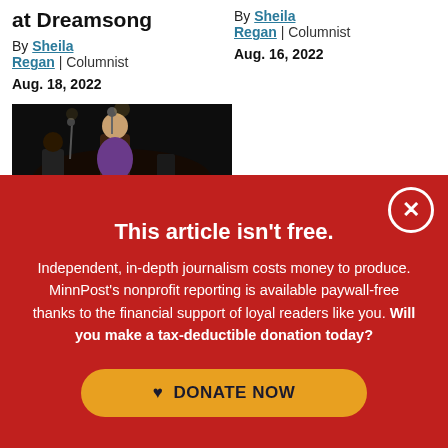at Dreamsong
By Sheila Regan | Columnist
Aug. 18, 2022
By Sheila Regan | Columnist
Aug. 16, 2022
[Figure (photo): Concert photo showing a performer on stage with microphones, dark background]
This article isn't free.
Independent, in-depth journalism costs money to produce. MinnPost's nonprofit reporting is available paywall-free thanks to the financial support of loyal readers like you. Will you make a tax-deductible donation today?
DONATE NOW